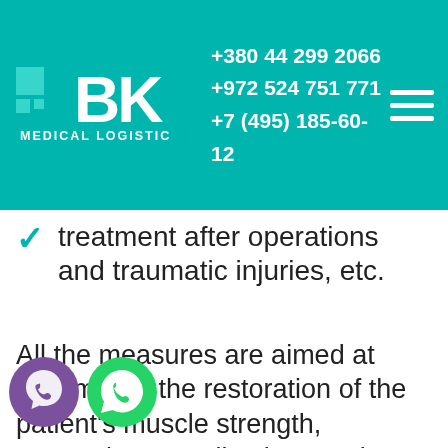[Figure (logo): BK Medical Logistic company logo with teal background, phone numbers, and hamburger menu]
treatment after operations and traumatic injuries, etc.
All the measures are aimed at maximizing the restoration of the patient's muscle strength, preventing complications and excluding the possibility of re-illness. The main means of recovery are physical exercises: remedial gymnastics, exercises on simulators, breathing exercises, etc. Various hardware physiotherapy treatments are used.